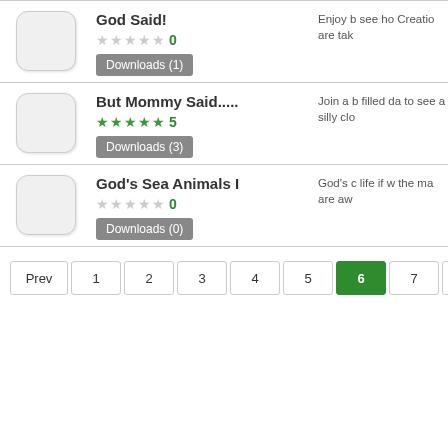God Said! — Rating: 0, Downloads (1)
But Mommy Said..... — Rating: 5, Downloads (3)
God's Sea Animals I — Rating: 0, Downloads (0)
Pagination: Prev 1 2 3 4 5 6 7 8 9 ...